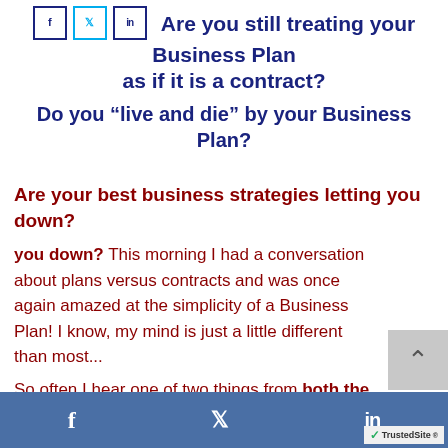Are you still treating your Business Plan as if it is a contract? Do you “live and die” by your Business Plan?
Are your best business strategies letting you down?
This morning I had a conversation about plans versus contracts and was once again amazed at the simplicity of a Business Plan! I know, my mind is just a little different than most...
So often I hear one of two things from both the corporate sector as well as
f  [twitter]  in  TrustedSite